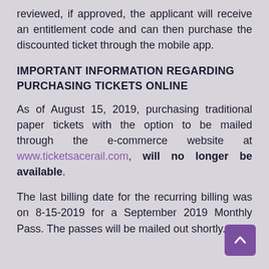reviewed, if approved, the applicant will receive an entitlement code and can then purchase the discounted ticket through the mobile app.
IMPORTANT INFORMATION REGARDING PURCHASING TICKETS ONLINE
As of August 15, 2019, purchasing traditional paper tickets with the option to be mailed through the e-commerce website at www.ticketsacerail.com, will no longer be available.
The last billing date for the recurring billing was on 8-15-2019 for a September 2019 Monthly Pass. The passes will be mailed out shortly.